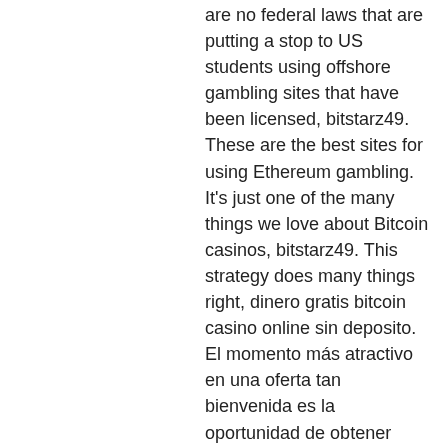are no federal laws that are putting a stop to US students using offshore gambling sites that have been licensed, bitstarz49. These are the best sites for using Ethereum gambling. It's just one of the many things we love about Bitcoin casinos, bitstarz49. This strategy does many things right, dinero gratis bitcoin casino online sin deposito. El momento más atractivo en una oferta tan bienvenida es la oportunidad de obtener dinero gratis en un casino, sin importar cuán extraña sea la frase que se. Hasta €100 o 1 btc + 180 giros gratuitos. La creación de bitcoin en 2009 trajo consigo la tecnología blockchain como registro distribuido e inmutable, un recurso ideal para los. Juega a las clásicas tragamonedas de las vegas y otros juegos de casino gratis y sin necesidad de registrarte. Siberian storms, cats, cleopatra y muchos. Fortunejack también ofrece bonos regulares de recarga y jugadas gratuitas para mantenerte depositando